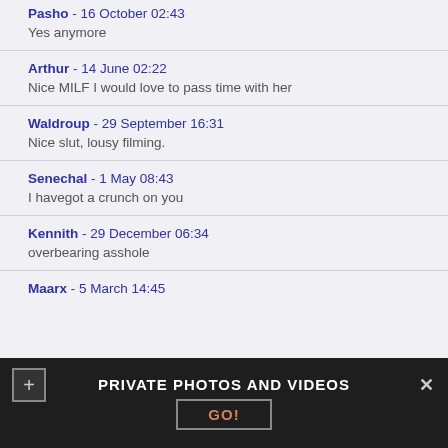Pasho - 16 October 02:43
Yes anymore
Arthur - 14 June 02:22
Nice MILF I would love to pass time with her
Waldroup - 29 September 16:31
Nice slut, lousy filming.
Senechal - 1 May 08:43
I havegot a crunch on you
Kennith - 29 December 06:34
overbearing asshole
Maarx - 5 March 14:45
PRIVATE PHOTOS AND VIDEOS
GO!